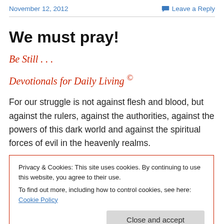November 12, 2012   Leave a Reply
We must pray!
Be Still . . .
Devotionals for Daily Living ©
For our struggle is not against flesh and blood, but against the rulers, against the authorities, against the powers of this dark world and against the spiritual forces of evil in the heavenly realms.
Privacy & Cookies: This site uses cookies. By continuing to use this website, you agree to their use.
To find out more, including how to control cookies, see here: Cookie Policy
[Close and accept]
...to the Media in America. Content to the...